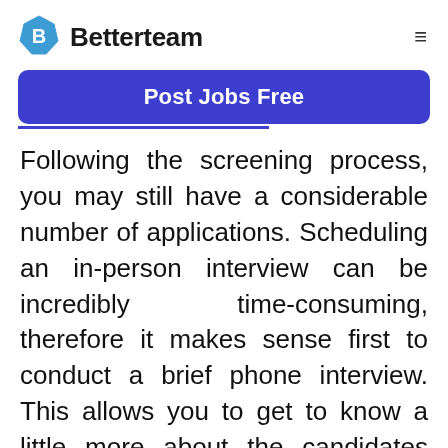Betterteam
[Figure (logo): Betterteam logo: blue hexagon badge with letter B, followed by bold text 'Betterteam']
Post Jobs Free
Following the screening process, you may still have a considerable number of applications. Scheduling an in-person interview can be incredibly time-consuming, therefore it makes sense first to conduct a brief phone interview. This allows you to get to know a little more about the candidates and determine which are worth learning more about and which